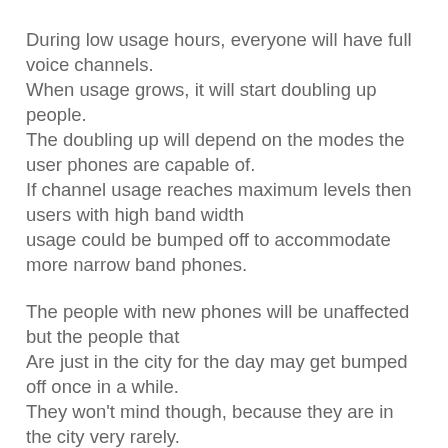During low usage hours, everyone will have full voice channels.
When usage grows, it will start doubling up people.
The doubling up will depend on the modes the user phones are capable of.
If channel usage reaches maximum levels then users with high band width
usage could be bumped off to accommodate more narrow band phones.
The people with new phones will be unaffected but the people that
Are just in the city for the day may get bumped off once in a while.
They won't mind though, because they are in the city very rarely.
The places they are normally around will have no problem with the older
phones.
Newer phones could access newer features but older